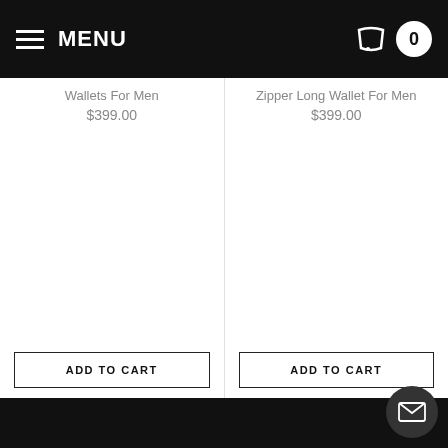MENU
Wallets For Men
$399.00
Zipper Long Wallet For Men
$399.00
ADD TO CART
ADD TO CART
DESCRIPTION
SHIPPING / PAYMENT
SIZING GUIDE
REVIEWS